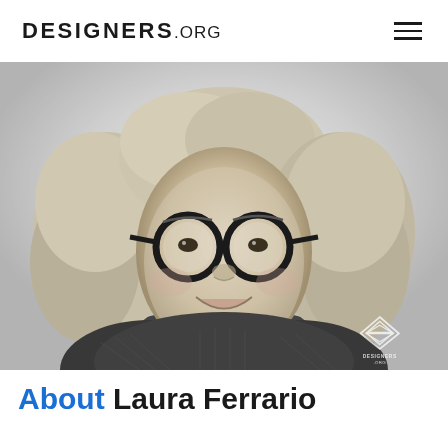DESIGNERS.ORG
[Figure (photo): Black and white portrait photo of Laura Ferrario, a woman with curly light hair wearing large round dark-framed glasses and a patterned top, smiling. A DESIGNERS.ORG logo watermark appears in the bottom right corner.]
About Laura Ferrario